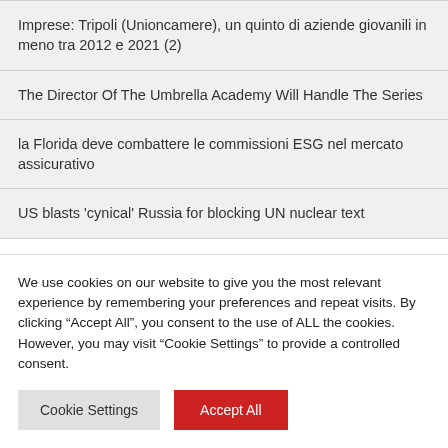Imprese: Tripoli (Unioncamere), un quinto di aziende giovanili in meno tra 2012 e 2021 (2)
The Director Of The Umbrella Academy Will Handle The Series
la Florida deve combattere le commissioni ESG nel mercato assicurativo
US blasts 'cynical' Russia for blocking UN nuclear text
We use cookies on our website to give you the most relevant experience by remembering your preferences and repeat visits. By clicking “Accept All”, you consent to the use of ALL the cookies. However, you may visit “Cookie Settings” to provide a controlled consent.